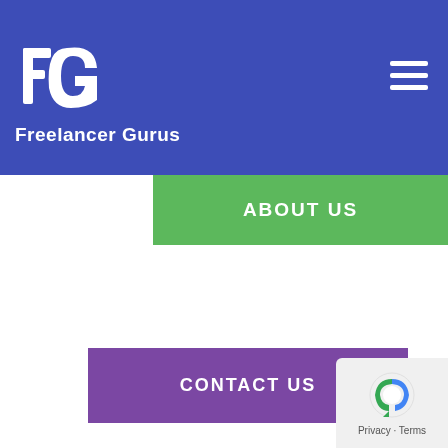[Figure (logo): Freelancer Gurus logo - FG letters in white on blue background with text 'Freelancer Gurus' below]
[Figure (other): Hamburger menu icon (three white horizontal lines) on blue background]
[Figure (other): Green button labeled ABOUT US]
[Figure (other): Purple button labeled CONTACT US]
[Figure (logo): Drupal logo - white droplet/teardrop shape with face on purple background, with text DRUPAL below]
[Figure (other): Google reCAPTCHA badge - Privacy - Terms]